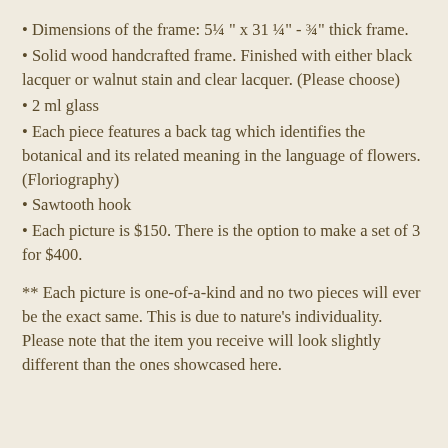Dimensions of the frame: 5¼ " x 31 ¼" - ¾" thick frame.
Solid wood handcrafted frame. Finished with either black lacquer or walnut stain and clear lacquer. (Please choose)
2 ml glass
Each piece features a back tag which identifies the botanical and its related meaning in the language of flowers. (Floriography)
Sawtooth hook
Each picture is $150. There is the option to make a set of 3 for $400.
** Each picture is one-of-a-kind and no two pieces will ever be the exact same. This is due to nature's individuality. Please note that the item you receive will look slightly different than the ones showcased here.